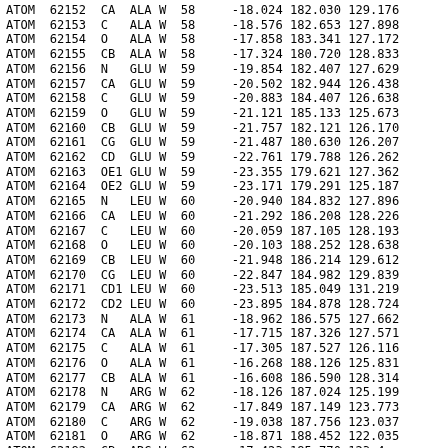| Record | Serial | Atom | Res | Chain | SeqNo | X | Y | Z |
| --- | --- | --- | --- | --- | --- | --- | --- | --- |
| ATOM | 62152 | CA | ALA | W | 58 | -18.024 | 182.030 | 129.176 |
| ATOM | 62153 | C | ALA | W | 58 | -18.576 | 182.653 | 127.898 |
| ATOM | 62154 | O | ALA | W | 58 | -17.858 | 183.341 | 127.172 |
| ATOM | 62155 | CB | ALA | W | 58 | -17.324 | 180.720 | 128.833 |
| ATOM | 62156 | N | GLU | W | 59 | -19.854 | 182.407 | 127.629 |
| ATOM | 62157 | CA | GLU | W | 59 | -20.502 | 182.944 | 126.438 |
| ATOM | 62158 | C | GLU | W | 59 | -20.883 | 184.407 | 126.638 |
| ATOM | 62159 | O | GLU | W | 59 | -21.121 | 185.133 | 125.673 |
| ATOM | 62160 | CB | GLU | W | 59 | -21.757 | 182.121 | 126.170 |
| ATOM | 62161 | CG | GLU | W | 59 | -21.487 | 180.630 | 126.207 |
| ATOM | 62162 | CD | GLU | W | 59 | -22.761 | 179.788 | 126.262 |
| ATOM | 62163 | OE1 | GLU | W | 59 | -23.355 | 179.621 | 127.362 |
| ATOM | 62164 | OE2 | GLU | W | 59 | -23.171 | 179.291 | 125.187 |
| ATOM | 62165 | N | LEU | W | 60 | -20.940 | 184.832 | 127.896 |
| ATOM | 62166 | CA | LEU | W | 60 | -21.292 | 186.208 | 128.226 |
| ATOM | 62167 | C | LEU | W | 60 | -20.059 | 187.105 | 128.193 |
| ATOM | 62168 | O | LEU | W | 60 | -20.103 | 188.252 | 128.638 |
| ATOM | 62169 | CB | LEU | W | 60 | -21.948 | 186.214 | 129.612 |
| ATOM | 62170 | CG | LEU | W | 60 | -22.847 | 184.982 | 129.839 |
| ATOM | 62171 | CD1 | LEU | W | 60 | -23.513 | 185.049 | 131.219 |
| ATOM | 62172 | CD2 | LEU | W | 60 | -23.895 | 184.878 | 128.724 |
| ATOM | 62173 | N | ALA | W | 61 | -18.962 | 186.575 | 127.662 |
| ATOM | 62174 | CA | ALA | W | 61 | -17.715 | 187.326 | 127.571 |
| ATOM | 62175 | C | ALA | W | 61 | -17.305 | 187.527 | 126.116 |
| ATOM | 62176 | O | ALA | W | 61 | -16.268 | 188.126 | 125.831 |
| ATOM | 62177 | CB | ALA | W | 61 | -16.608 | 186.590 | 128.314 |
| ATOM | 62178 | N | ARG | W | 62 | -18.126 | 187.024 | 125.199 |
| ATOM | 62179 | CA | ARG | W | 62 | -17.849 | 187.149 | 123.773 |
| ATOM | 62180 | C | ARG | W | 62 | -19.038 | 187.756 | 123.037 |
| ATOM | 62181 | O | ARG | W | 62 | -18.871 | 188.452 | 122.035 |
| ATOM | 62182 | CB | ARG | W | 62 | ... | ... | ... |